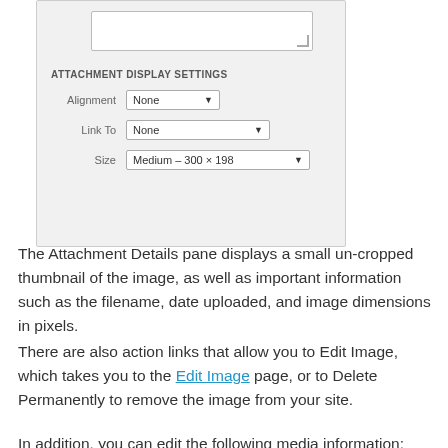[Figure (screenshot): Screenshot of WordPress Attachment Display Settings panel showing Alignment (None), Link To (None), and Size (Medium - 300x198) dropdowns on a light gray background]
The Attachment Details pane displays a small un-cropped thumbnail of the image, as well as important information such as the filename, date uploaded, and image dimensions in pixels.
There are also action links that allow you to Edit Image, which takes you to the Edit Image page, or to Delete Permanently to remove the image from your site.
In addition, you can edit the following media information: